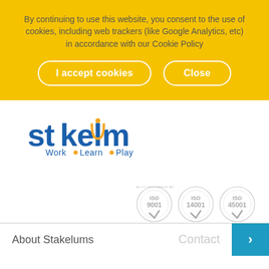By continuing to use this website, you consent to the use of cookies, including web trackers (like Google Analytics, etc) in accordance with our Cookie Policy
I accept cookies
Close
[Figure (logo): Stakelum logo with text 'Work • Learn • Play']
[Figure (other): Three ISO quality assurance management badges: ISO 9001, ISO 14001, ISO 45001]
About Stakelums
Contact